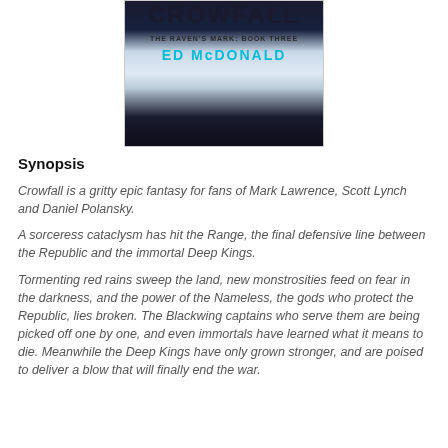[Figure (illustration): Book cover for 'Crowfall: The Raven's Mark: Book Three' by Ed McDonald. Dark fantasy cover with the title in large bold letters, subtitle 'THE RAVEN'S MARK: BOOK THREE' and author name 'ED McDONALD' in teal/cyan color. Background shows a dark and icy atmospheric scene.]
Synopsis
Crowfall is a gritty epic fantasy for fans of Mark Lawrence, Scott Lynch and Daniel Polansky.
A sorceress cataclysm has hit the Range, the final defensive line between the Republic and the immortal Deep Kings.
Tormenting red rains sweep the land, new monstrosities feed on fear in the darkness, and the power of the Nameless, the gods who protect the Republic, lies broken. The Blackwing captains who serve them are being picked off one by one, and even immortals have learned what it means to die. Meanwhile the Deep Kings have only grown stronger, and are poised to deliver a blow that will finally end the war.